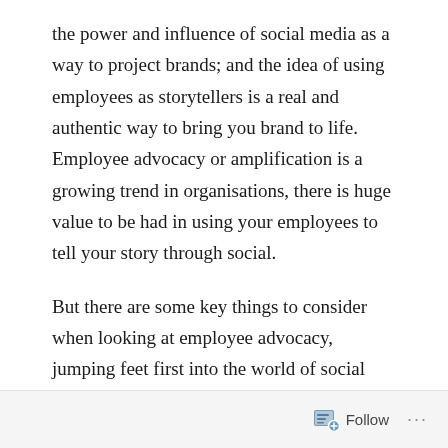the power and influence of social media as a way to project brands; and the idea of using employees as storytellers is a real and authentic way to bring you brand to life. Employee advocacy or amplification is a growing trend in organisations, there is huge value to be had in using your employees to tell your story through social.
But there are some key things to consider when looking at employee advocacy, jumping feet first into the world of social present both opportunities and risks. An employee advocacy strategy should be
Follow ···